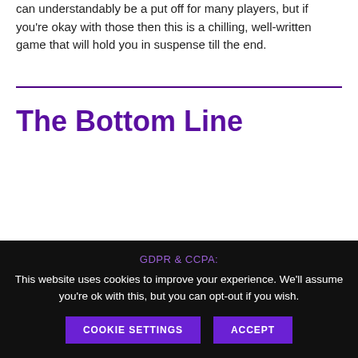can understandably be a put off for many players, but if you're okay with those then this is a chilling, well-written game that will hold you in suspense till the end.
The Bottom Line
GDPR & CCPA: This website uses cookies to improve your experience. We'll assume you're ok with this, but you can opt-out if you wish.
COOKIE SETTINGS  ACCEPT